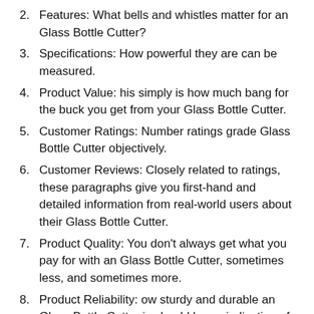2. Features: What bells and whistles matter for an Glass Bottle Cutter?
3. Specifications: How powerful they are can be measured.
4. Product Value: his simply is how much bang for the buck you get from your Glass Bottle Cutter.
5. Customer Ratings: Number ratings grade Glass Bottle Cutter objectively.
6. Customer Reviews: Closely related to ratings, these paragraphs give you first-hand and detailed information from real-world users about their Glass Bottle Cutter.
7. Product Quality: You don't always get what you pay for with an Glass Bottle Cutter, sometimes less, and sometimes more.
8. Product Reliability: ow sturdy and durable an Glass Bottle Cutter is should be an indication of how long it will work out for you. .